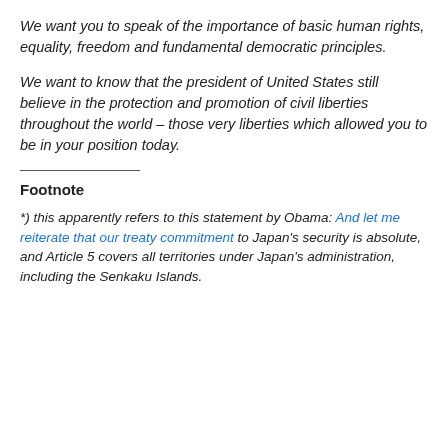We want you to speak of the importance of basic human rights, equality, freedom and fundamental democratic principles.
We want to know that the president of United States still believe in the protection and promotion of civil liberties throughout the world – those very liberties which allowed you to be in your position today.
Footnote
*) this apparently refers to this statement by Obama: And let me reiterate that our treaty commitment to Japan's security is absolute, and Article 5 covers all territories under Japan's administration, including the Senkaku Islands.